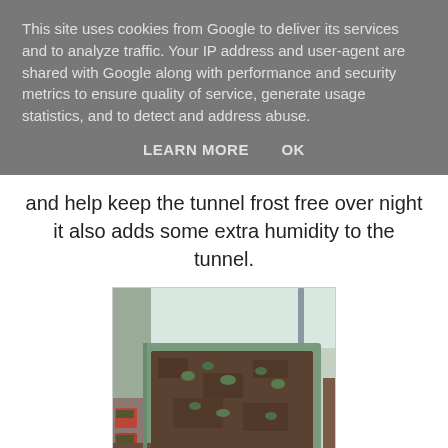This site uses cookies from Google to deliver its services and to analyze traffic. Your IP address and user-agent are shared with Google along with performance and security metrics to ensure quality of service, generate usage statistics, and to detect and address abuse.
LEARN MORE    OK
and help keep the tunnel frost free over night it also adds some extra humidity to the tunnel.
[Figure (photo): A raised garden bed / seed tray with dark soil and small seedlings, inside what appears to be a polytunnel or greenhouse. Small red plant pots are visible in the lower left. The tunnel structure is visible in the background.]